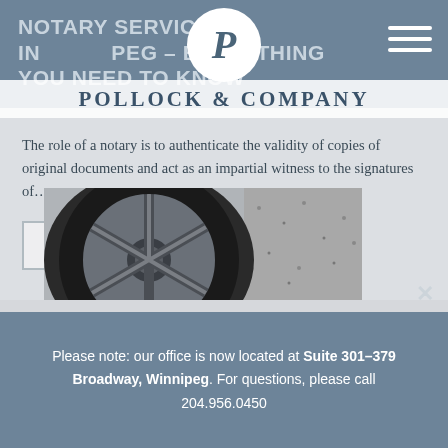NOTARY SERVICES IN WINNIPEG – EVERYTHING YOU NEED TO KNOW
[Figure (logo): Pollock & Company logo: white circle with italic P, company name banner below]
The role of a notary is to authenticate the validity of copies of original documents and act as an impartial witness to the signatures of…
Continue Reading
[Figure (photo): Close-up photograph of a car wheel/tire alloy rim on gravel surface]
Please note: our office is now located at Suite 301–379 Broadway, Winnipeg. For questions, please call 204.956.0450